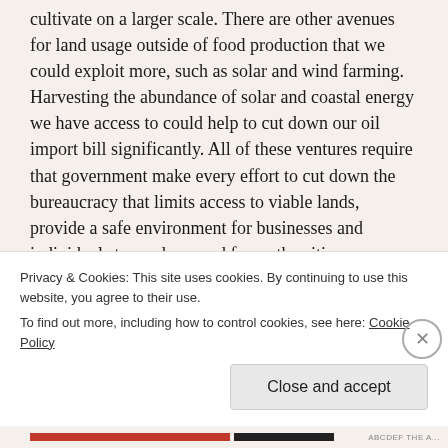cultivate on a larger scale. There are other avenues for land usage outside of food production that we could exploit more, such as solar and wind farming. Harvesting the abundance of solar and coastal energy we have access to could help to cut down our oil import bill significantly. All of these ventures require that government make every effort to cut down the bureaucracy that limits access to viable lands, provide a safe environment for businesses and individuals to produce, and for us the citizens, we need to continue innovating and continuously seek to find new ways of
Privacy & Cookies: This site uses cookies. By continuing to use this website, you agree to their use.
To find out more, including how to control cookies, see here: Cookie Policy
Close and accept